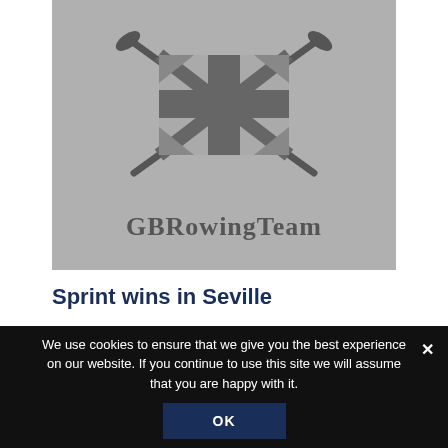[Figure (logo): GB Rowing Team logo: Union Jack flag design with crossed oars, grey on grey background, with text 'GBRowingTeam' below in serif bold font]
Sprint wins in Seville
We use cookies to ensure that we give you the best experience on our website. If you continue to use this site we will assume that you are happy with it.